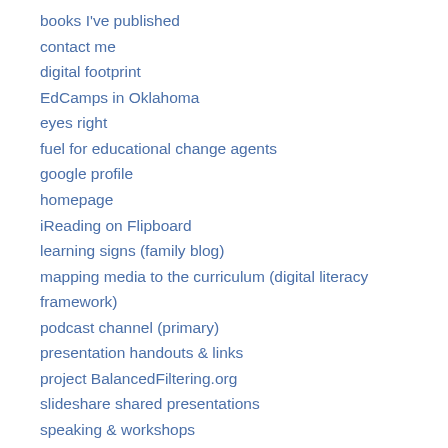books I've published
contact me
digital footprint
EdCamps in Oklahoma
eyes right
fuel for educational change agents
google profile
homepage
iReading on Flipboard
learning signs (family blog)
mapping media to the curriculum (digital literacy framework)
podcast channel (primary)
presentation handouts & links
project BalancedFiltering.org
slideshare shared presentations
speaking & workshops
STEM curriculum resources
STEM seeds
subscribe to comments
testimony
twitter archive for @wfryer
twitter archive for @...